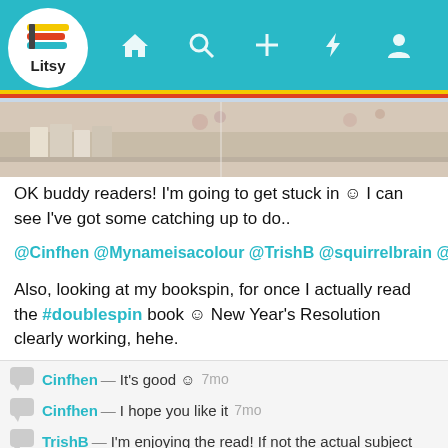[Figure (screenshot): Litsy app screenshot showing navigation bar with logo, home, search, add, activity and profile icons]
[Figure (photo): Photo of books with floral fabric/pattern in background]
OK buddy readers! I'm going to get stuck in 😊 I can see I've got some catching up to do..
@Cinfhen @Mynameisacolour @TrishB @squirrelbrain @Kdgord
Also, looking at my bookspin, for once I actually read the #doublespin book 😊 New Year's Resolution clearly working, hehe.
Cinfhen — It's good 😊   7mo
Cinfhen — I hope you like it   7mo
TrishB — I'm enjoying the read! If not the actual subject matter.   7mo